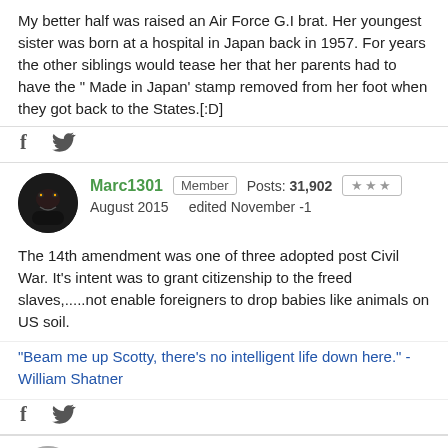My better half was raised an Air Force G.I brat. Her youngest sister was born at a hospital in Japan back in 1957. For years the other siblings would tease her that her parents had to have the "Made in Japan' stamp removed from her foot when they got back to the States.[:D]
Marc1301  Member  Posts: 31,902  ★★★  August 2015  edited November -1
The 14th amendment was one of three adopted post Civil War. It's intent was to grant citizenship to the freed slaves,.....not enable foreigners to drop babies like animals on US soil.
"Beam me up Scotty, there's no intelligent life down here." - William Shatner
Spider7115  Member, Moderator  Posts: 29,704